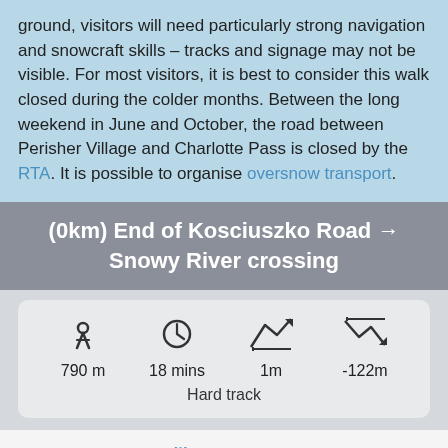ground, visitors will need particularly strong navigation and snowcraft skills – tracks and signage may not be visible. For most visitors, it is best to consider this walk closed during the colder months. Between the long weekend in June and October, the road between Perisher Village and Charlotte Pass is closed by the RTA. It is possible to organise oversnow transport.
(0km) End of Kosciuszko Road → Snowy River crossing
| Distance | Time | Ascent | Descent |
| --- | --- | --- | --- |
| 790 m | 18 mins | 1m | -122m |
Hard track
From Charlotte Pass[1] (at the turning circle at the end of Kosciuszko Rd), this walk follows the 'Main Range Track' –